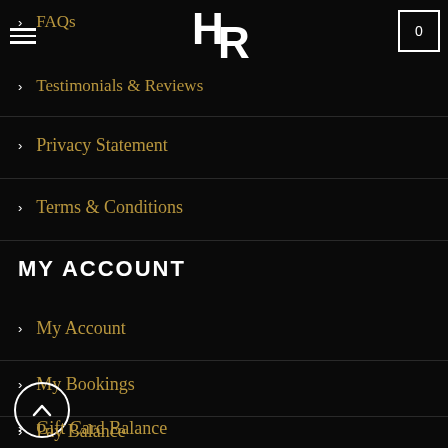HR logo, hamburger menu, cart icon with 0
FAQs
Testimonials & Reviews
Privacy Statement
Terms & Conditions
MY ACCOUNT
My Account
My Bookings
Pay Balance
Gift Card Balance